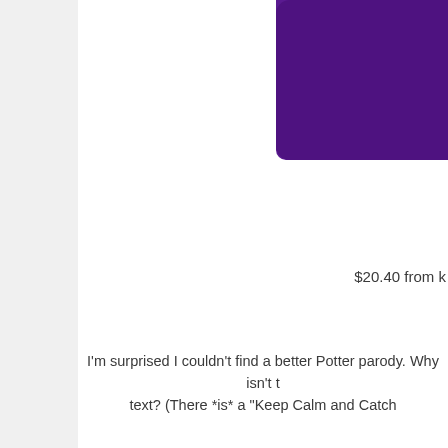[Figure (photo): Purple bag or case partially visible in top right corner of page]
$20.40 from k
I'm surprised I couldn't find a better Potter parody. Why isn't t text? (There *is* a "Keep Calm and Catch
I found lots of ve
[Figure (photo): White t-shirt product photo, lower half of page]